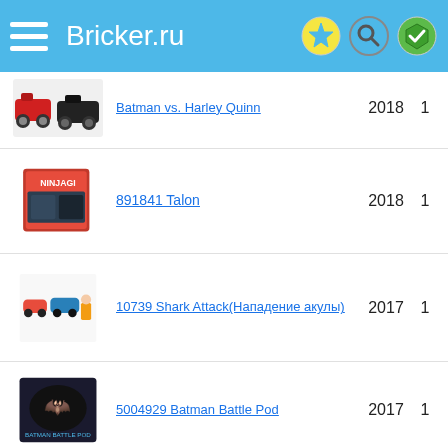Bricker.ru
Batman vs. Harley Quinn — 2018 — 1
891841 Talon — 2018 — 1
10739 Shark Attack(Нападение акулы) — 2017 — 1
5004929 Batman Battle Pod — 2017 — 1
60138 Police Chase(Стремительная погоня) — 2017 — 1
70900 The Joker Baloon Escape(Побег Джокера на воздушном шаре) — 2017 — 1
70913 Scarecrow's — 2017 — 1